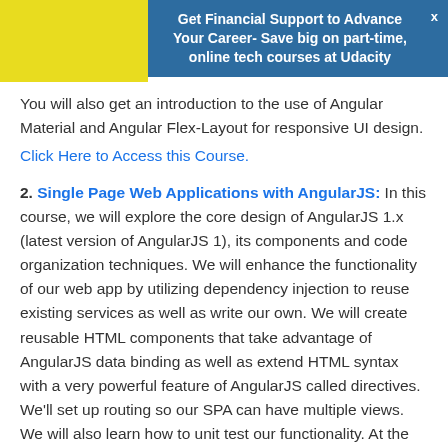Get Financial Support to Advance Your Career- Save big on part-time, online tech courses at Udacity
You will also get an introduction to the use of Angular Material and Angular Flex-Layout for responsive UI design.
Click Here to Access this Course.
2. Single Page Web Applications with AngularJS: In this course, we will explore the core design of AngularJS 1.x (latest version of AngularJS 1), its components and code organization techniques. We will enhance the functionality of our web app by utilizing dependency injection to reuse existing services as well as write our own. We will create reusable HTML components that take advantage of AngularJS data binding as well as extend HTML syntax with a very powerful feature of AngularJS called directives. We'll set up routing so our SPA can have multiple views. We will also learn how to unit test our functionality. At the end of this course you will build a fully functional application based on...